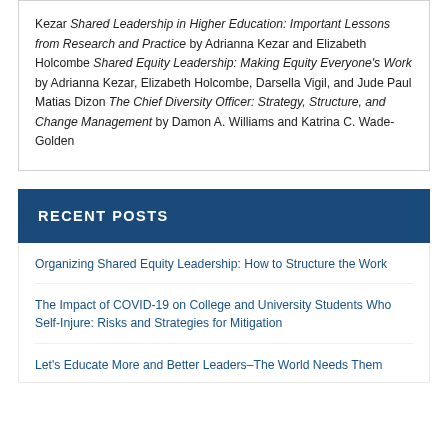Kezar Shared Leadership in Higher Education: Important Lessons from Research and Practice by Adrianna Kezar and Elizabeth Holcombe Shared Equity Leadership: Making Equity Everyone's Work by Adrianna Kezar, Elizabeth Holcombe, Darsella Vigil, and Jude Paul Matias Dizon The Chief Diversity Officer: Strategy, Structure, and Change Management by Damon A. Williams and Katrina C. Wade-Golden
RECENT POSTS
Organizing Shared Equity Leadership: How to Structure the Work
The Impact of COVID-19 on College and University Students Who Self-Injure: Risks and Strategies for Mitigation
Let's Educate More and Better Leaders–The World Needs Them